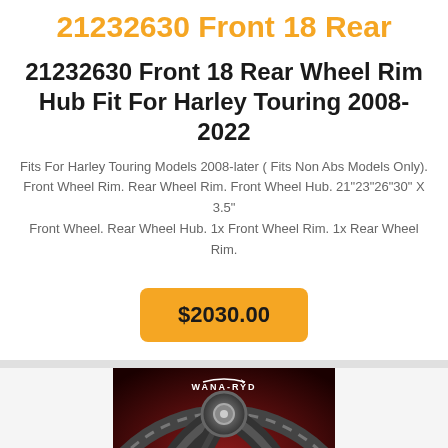21232630 Front 18 Rear
21232630 Front 18 Rear Wheel Rim Hub Fit For Harley Touring 2008-2022
Fits For Harley Touring Models 2008-later ( Fits Non Abs Models Only). Front Wheel Rim. Rear Wheel Rim. Front Wheel Hub. 21"23"26"30" X 3.5" Front Wheel. Rear Wheel Hub. 1x Front Wheel Rim. 1x Rear Wheel Rim.
$2030.00
[Figure (photo): Partial photo of a black motorcycle wheel rim with WANA-RYD branding on a dark red background]